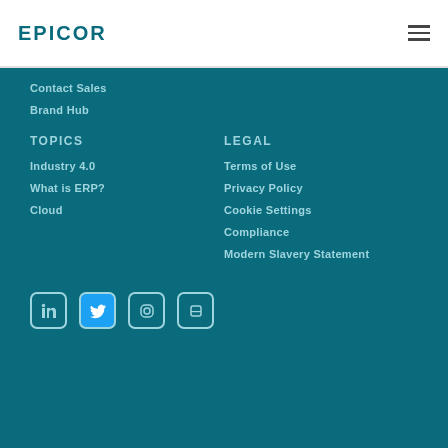Epicor logo and hamburger menu
Contact Sales
Brand Hub
TOPICS
LEGAL
Industry 4.0
Terms of Use
What is ERP?
Privacy Policy
Cloud
Cookie Settings
Compliance
Modern Slavery Statement
[Figure (other): Social media icons row: LinkedIn, Twitter, Instagram, Glassdoor]